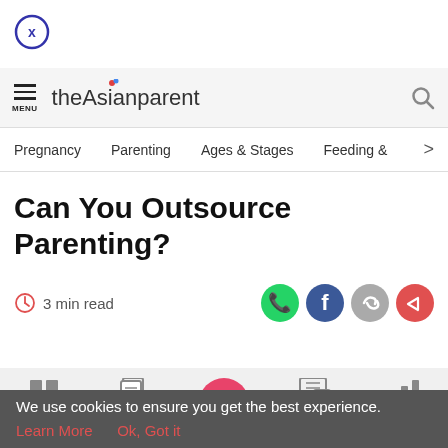[Figure (screenshot): Close button (X in circle) in top left corner]
theAsianparent — MENU | Search icon
Pregnancy   Parenting   Ages & Stages   Feeding & >
Can You Outsource Parenting?
3 min read
[Figure (infographic): Social share icons: WhatsApp (green), Facebook (dark blue), Link/copy (grey), Share (red/orange)]
Tools | Articles | (home/baby feet icon) | Feed | Poll
We use cookies to ensure you get the best experience.
Learn More   Ok, Got it